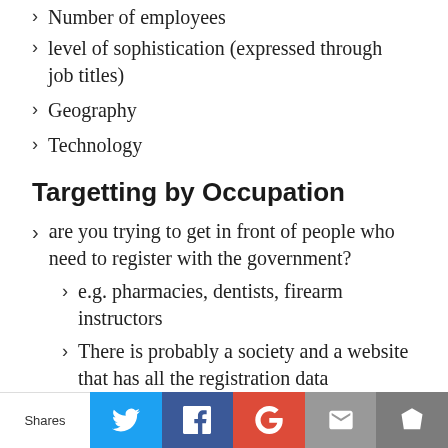Number of employees
level of sophistication (expressed through job titles)
Geography
Technology
Targetting by Occupation
are you trying to get in front of people who need to register with the government?
e.g. pharmacies, dentists, firearm instructors
There is probably a society and a website that has all the registration data
Targetting by Size (Revenue, Number of
Shares